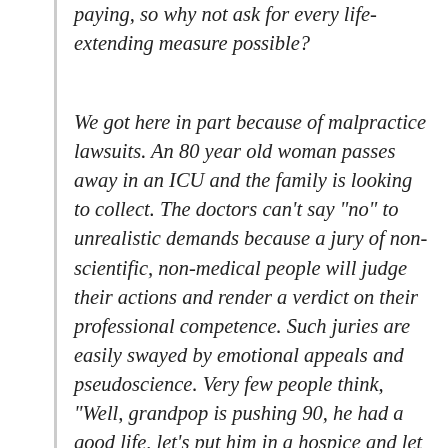paying, so why not ask for every life-extending measure possible?
We got here in part because of malpractice lawsuits. An 80 year old woman passes away in an ICU and the family is looking to collect. The doctors can't say “no” to unrealistic demands because a jury of non-scientific, non-medical people will judge their actions and render a verdict on their professional competence. Such juries are easily swayed by emotional appeals and pseudoscience. Very few people think, “Well, grandpop is pushing 90, he had a good life, let’s put him in a hospice and let him die peacefully.” The doctors and nurses